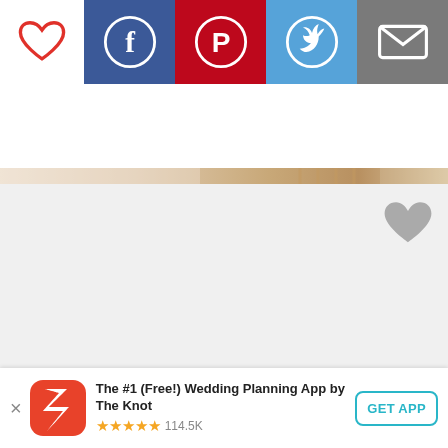[Figure (screenshot): Top social sharing bar with heart/favorite icon (white background), Facebook (blue), Pinterest (red), Twitter (light blue), and email (gray) buttons]
[Figure (photo): Partial photo of wedding table setting with soft beige/gold tones, blurred forks visible]
[Figure (screenshot): Gray content area with a gray heart/favorite icon in the upper right corner]
[Figure (screenshot): App download banner: The Knot app icon (red with white K), app title 'The #1 (Free!) Wedding Planning App by The Knot', 5 star rating, 114.5K reviews, GET APP button]
The #1 (Free!) Wedding Planning App by The Knot
★★★★★ 114.5K